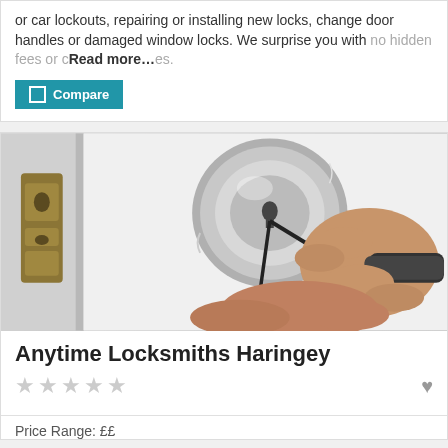or car lockouts, repairing or installing new locks, change door handles or damaged window locks. We surprise you with no hidden fees or charges. Read more...
Compare
[Figure (photo): A locksmith's hand using a pick tool on a silver deadbolt lock on a white door, with a brass strike plate visible on the left.]
Anytime Locksmiths Haringey
★★★★★
Price Range: ££